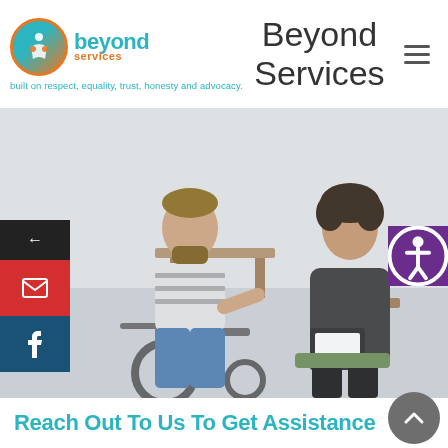[Figure (logo): Beyond Services logo with circular icon and teal/orange text]
built on respect, equality, trust, honesty and advocacy.
Beyond Services
[Figure (photo): A man in a wheelchair talking with a woman holding a clipboard in an indoor setting]
Reach Out To Us To Get Assistance